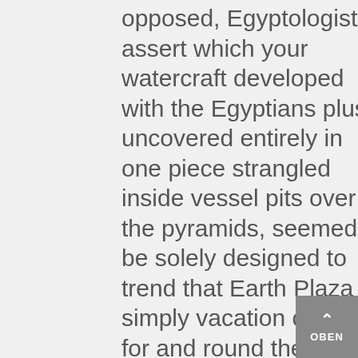opposed, Egyptologists assert which your watercraft developed with the Egyptians plus uncovered entirely in one piece strangled inside vessel pits over the pyramids, seemed to be solely designed to trend that Earth Plaza or simply vacation cruise for and round the Mediterranean sea coast Ocean